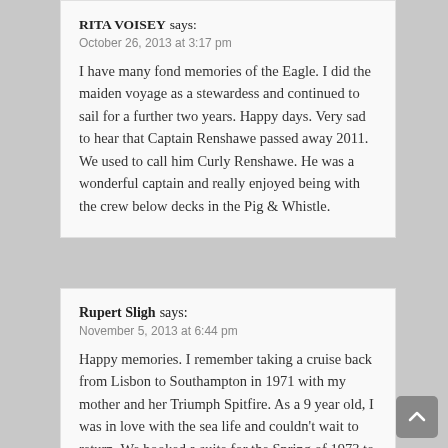RITA VOISEY says:
October 26, 2013 at 3:17 pm

I have many fond memories of the Eagle. I did the maiden voyage as a stewardess and continued to sail for a further two years. Happy days. Very sad to hear that Captain Renshawe passed away 2011. We used to call him Curly Renshawe. He was a wonderful captain and really enjoyed being with the crew below decks in the Pig & Whistle.
Rupert Sligh says:
November 5, 2013 at 6:44 pm

Happy memories. I remember taking a cruise back from Lisbon to Southampton in 1971 with my mother and her Triumph Spitfire. As a 9 year old, I was in love with the sea life and couldn't wait to return. We booked a suite for the Spring of 1973 to go to Tangier and back. I was devastated when the cruise was cancelled due to engine problems. To soften the blow, my father booked us on an